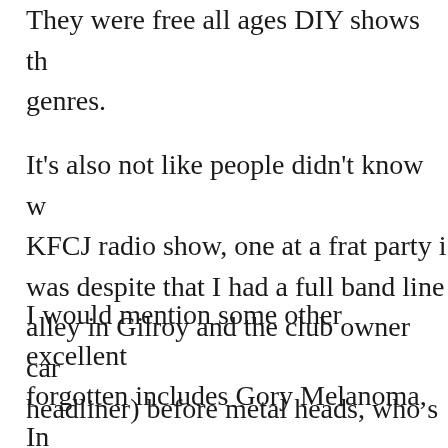They were free all ages DIY shows that crossed genres.
It's also not like people didn't know w... KFCJ radio show, one at a frat party i... was despite that I had a full band line... alley in Gilroy and the club owner can... headliner) before metal heads, who s...
I would mention some other excellent... forgotten includes Gory Melanoma, In... Disembodiment, Doomed-horn, and G... active also :)